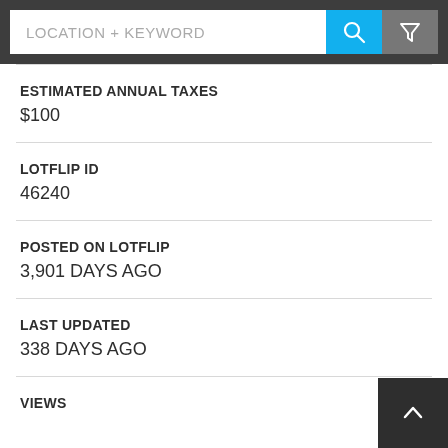[Figure (screenshot): Search bar with LOCATION + KEYWORD placeholder, blue search button with magnifying glass icon, and grey filter button with funnel icon]
ESTIMATED ANNUAL TAXES
$100
LOTFLIP ID
46240
POSTED ON LOTFLIP
3,901 DAYS AGO
LAST UPDATED
338 DAYS AGO
VIEWS